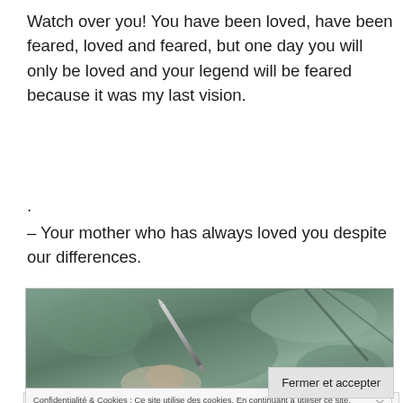Watch over you! You have been loved, have been feared, loved and feared, but one day you will only be loved and your legend will be feared because it was my last vision.
.
– Your mother who has always loved you despite our differences.
[Figure (screenshot): A blurry screenshot showing a hand holding a pen or pencil against a green/grey background, partially visible.]
Confidentialité & Cookies : Ce site utilise des cookies. En continuant à utiliser ce site, vous acceptez leur utilisation.
Pour en savoir davantage, y compris comment contrôler les cookies, voir :
Politique relative aux cookies
Fermer et accepter